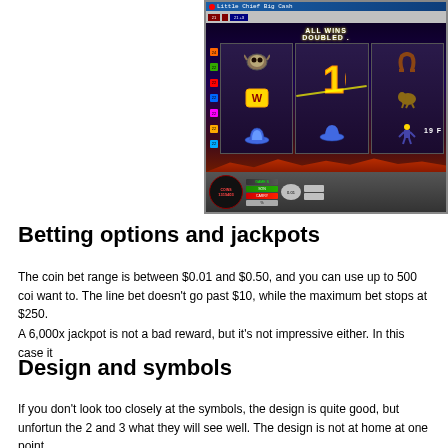[Figure (screenshot): Screenshot of 'Little Chief Big Cash' slot machine game showing reels with western/native american themed symbols including a buffalo skull, cowboy hat, horseshoe, and number 10. The display shows 'ALL WINS DOUBLED' and '19 FREE' games remaining with a coin count of 1315403.]
Betting options and jackpots
The coin bet range is between $0.01 and $0.50, and you can use up to 500 coi
want to. The line bet doesn't go past $10, while the maximum bet stops at $250.
A 6,000x jackpot is not a bad reward, but it's not impressive either. In this case it
Design and symbols
If you don't look too closely at the symbols, the design is quite good, but unfortun
the 2 and 3 what they will see well. The design is not at home at one point...